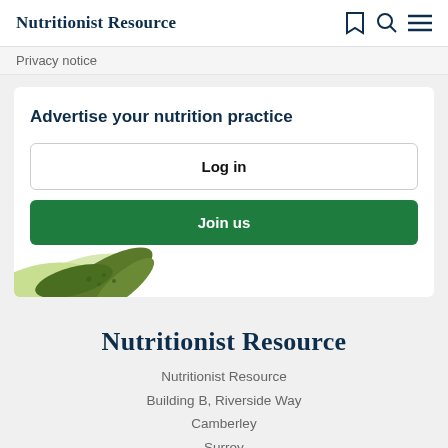Nutritionist Resource
Privacy notice
Advertise your nutrition practice
Log in
Join us
[Figure (illustration): Decorative green leaf/plant illustration in bottom-left of card]
Nutritionist Resource
Nutritionist Resource
Building B, Riverside Way
Camberley
Surrey